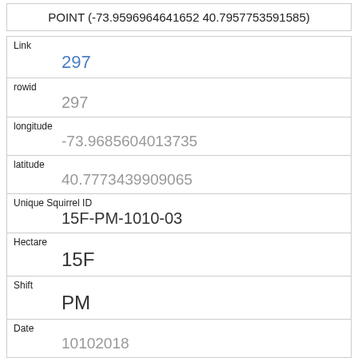| POINT (-73.9596964641652 40.7957753591585) |
| Link | 297 |
| rowid | 297 |
| longitude | -73.9685604013735 |
| latitude | 40.7773439909065 |
| Unique Squirrel ID | 15F-PM-1010-03 |
| Hectare | 15F |
| Shift | PM |
| Date | 10102018 |
| Hectare Squirrel Number | 3 |
| Age |  |